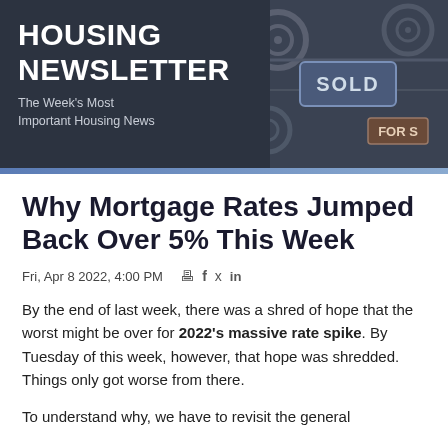Housing Newsletter
The Week's Most Important Housing News
Why Mortgage Rates Jumped Back Over 5% This Week
Fri, Apr 8 2022, 4:00 PM
By the end of last week, there was a shred of hope that the worst might be over for 2022's massive rate spike. By Tuesday of this week, however, that hope was shredded. Things only got worse from there.
To understand why, we have to revisit the general